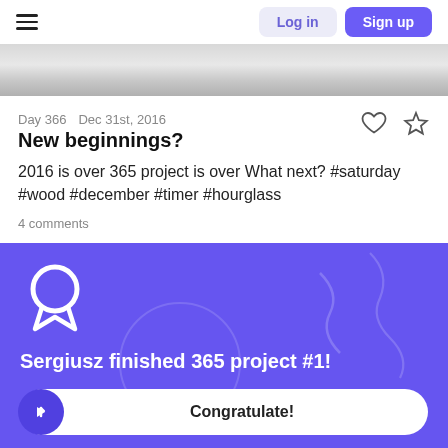Log in   Sign up
[Figure (photo): Grey gradient banner image area at top of page]
Day 366   Dec 31st, 2016
New beginnings?
2016 is over 365 project is over What next? #saturday #wood #december #timer #hourglass
4 comments
Sergiusz finished 365 project #1!
Congratulate!